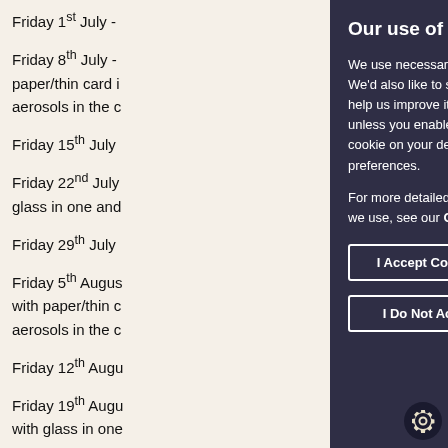Friday 1st July -
Friday 8th July - paper/thin card i... aerosols in the c...
Friday 15th July
Friday 22nd July glass in one and
Friday 29th July
Friday 5th August with paper/thin c... aerosols in the c...
Friday 12th August
Friday 19th August with glass in one
Friday 26th August
Our use of cookies

We use necessary cookies to make our We'd also like to set optional analytics c... help us improve it. We won't set optiona... unless you enable them. Using this tool cookie on your device to remember you preferences.

For more detailed information about the we use, see our Cookies page.

I Accept Cookies

I Do Not Accept Cookies